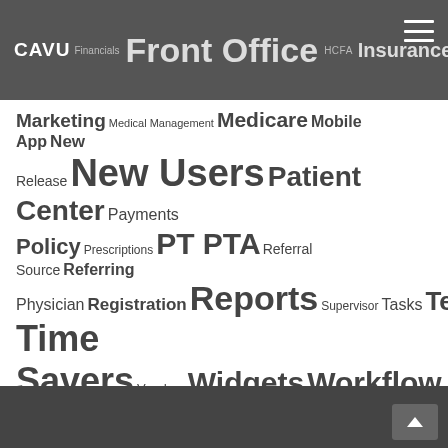CAVU Financials Front Office HCFA Insurance
Marketing Medical Management Medicare Mobile App New Release New Users Patient Center Payments Policy Prescriptions PT PTA Referral Source Referring Physician Registration Reports Supervisor Tasks Tech Time Savers Vendors Widgets Workflow